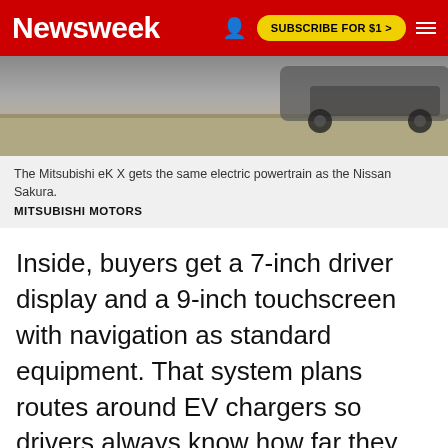Newsweek | SUBSCRIBE FOR $1 >
[Figure (photo): Partial view of a Mitsubishi eK X electric vehicle on a road surface, showing the rear/side of the car.]
The Mitsubishi eK X gets the same electric powertrain as the Nissan Sakura.
MITSUBISHI MOTORS
Inside, buyers get a 7-inch driver display and a 9-inch touchscreen with navigation as standard equipment. That system plans routes around EV chargers so drivers always know how far they can go. Wireless Apple CarPlay is also standard. Mitsubishi has both Android Auto and Apple CarPlay, and the same 7- and 9-